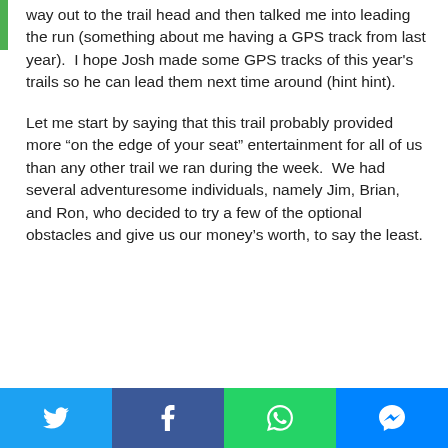way out to the trail head and then talked me into leading the run (something about me having a GPS track from last year).  I hope Josh made some GPS tracks of this year's trails so he can lead them next time around (hint hint).
Let me start by saying that this trail probably provided more “on the edge of your seat” entertainment for all of us than any other trail we ran during the week.  We had several adventuresome individuals, namely Jim, Brian, and Ron, who decided to try a few of the optional obstacles and give us our money’s worth, to say the least.
Social share buttons: Twitter, Facebook, WhatsApp, Messenger